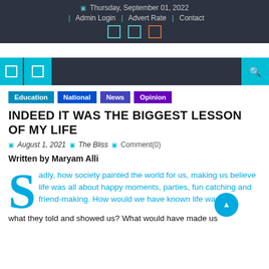Thursday, September 01, 2022 | Admin Login | Advert Rate | Contact
Education National News Opinion
INDEED IT WAS THE BIGGEST LESSON OF MY LIFE
August 1, 2021 | The Bliss | Comment(0)
Written by Maryam Alli
Sadly, how society painted the world for us, making us believe life was all about happy moments, parties, fun catching and friend-making. How would we have known life wasn't what they told and showed us? What would have made us